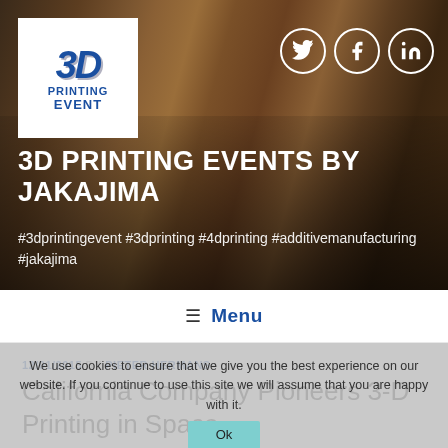[Figure (screenshot): Website header with 3D printing table background photo, 3D Printing Event logo in white box top-left, social media icons (Twitter, Facebook, LinkedIn) top-right]
3D PRINTING EVENTS BY JAKAJIMA
#3dprintingevent #3dprinting #4dprinting #additivemanufacturing #jakajima
≡ Menu
12/01/2015 BY PIETER HERMANS
California Company Pioneers 3-D Printing in Space
We use cookies to ensure that we give you the best experience on our website. If you continue to use this site we will assume that you are happy with it. Ok